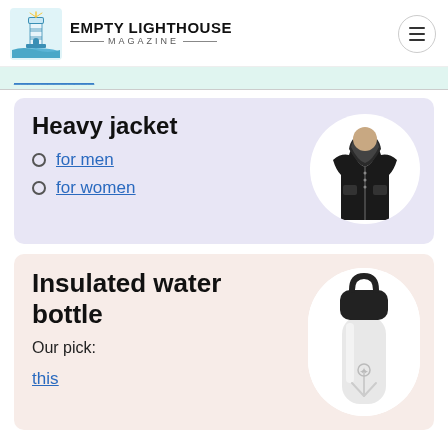EMPTY LIGHTHOUSE MAGAZINE
Heavy jacket
for men
for women
[Figure (photo): Woman wearing a black heavy winter jacket with fur-trimmed hood, shown in circular crop]
Insulated water bottle
Our pick:
this
[Figure (photo): White insulated water bottle with black cap and handle, shown in oval crop on pink background]